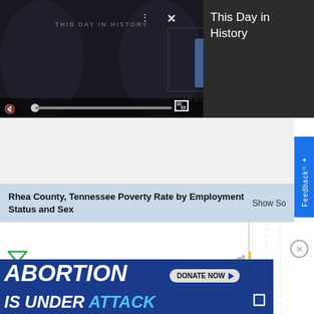[Figure (screenshot): Video player showing 'This Day in History' with play button, mute icon, progress bar, fullscreen button, and video controls overlay on dark background with 'AUGUST' text]
This Day in History
[Figure (screenshot): Feedback tab on right side, blue vertical button with star icon and 'Feedback' text]
Rhea County, Tennessee Poverty Rate by Employment Status and Sex
Show So
[Figure (bar-chart): Partial bar chart showing 'Male Employed' and 'Male Unemployed' categories with dashed grid lines, chart is mostly cut off]
[Figure (screenshot): Advertisement banner: 'ABORTION IS UNDER ATTACK' with 'DONATE NOW' button and Planned Parenthood logo]